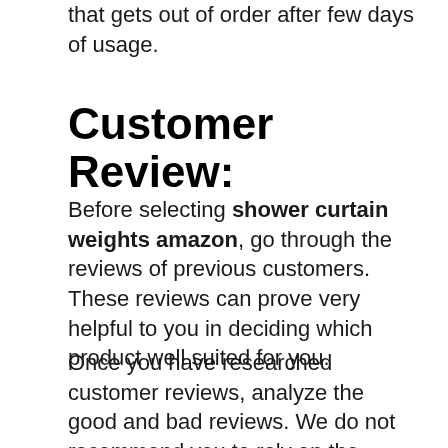that gets out of order after few days of usage.
Customer Review:
Before selecting shower curtain weights amazon, go through the reviews of previous customers. These reviews can prove very helpful to you in deciding which product well suited for you.
Once you have researched customer reviews, analyze the good and bad reviews. We do not recommend you to rely on the thoughts of one customer. Instead, go through plenty of reviews. Rather it will be an excellent choice to watch reviews with